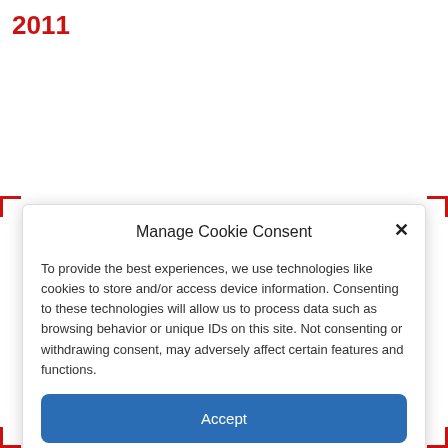2011
Manage Cookie Consent
To provide the best experiences, we use technologies like cookies to store and/or access device information. Consenting to these technologies will allow us to process data such as browsing behavior or unique IDs on this site. Not consenting or withdrawing consent, may adversely affect certain features and functions.
Accept
Deny
View preferences